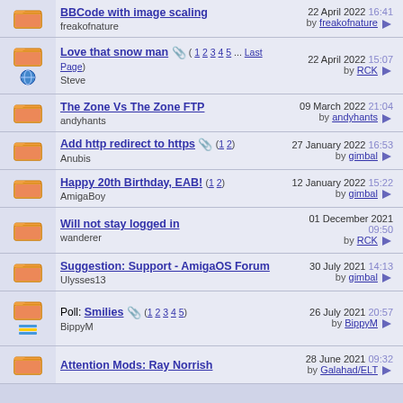|  | Topic | Last Post | Replies |
| --- | --- | --- | --- |
| [folder] | BBCode with image scaling
freakofnature | 22 April 2022 16:41 by freakofnature | 2 |
| [folder] | Love that snow man [1 2 3 4 5 ... Last Page]
Steve | 22 April 2022 15:07 by RCK | 639 |
| [folder] | The Zone Vs The Zone FTP
andyhants | 09 March 2022 21:04 by andyhants | 3 |
| [folder] | Add http redirect to https [1 2]
Anubis | 27 January 2022 16:53 by gimbal | 24 |
| [folder] | Happy 20th Birthday, EAB! [1 2]
AmigaBoy | 12 January 2022 15:22 by gimbal | 35 |
| [folder] | Will not stay logged in
wanderer | 01 December 2021 09:50 by RCK | 8 |
| [folder] | Suggestion: Support - AmigaOS Forum
Ulysses13 | 30 July 2021 14:13 by gimbal | 4 |
| [folder] | Poll: Smilies [1 2 3 4 5]
BippyM | 26 July 2021 20:57 by BippyM | 80 |
| [folder] | Attention Mods: Ray Norrish
 | 28 June 2021 09:32 by Galahad/ELT | 6 |